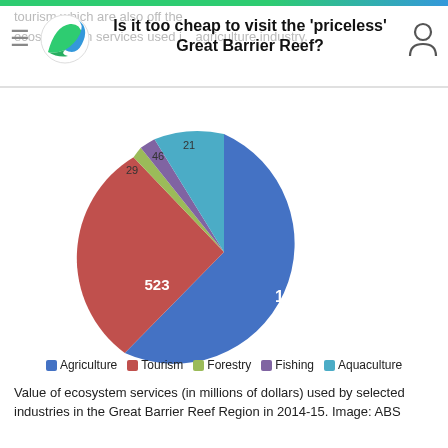Is it too cheap to visit the 'priceless' Great Barrier Reef?
[Figure (pie-chart): Value of ecosystem services used by selected industries in the Great Barrier Reef Region]
Value of ecosystem services (in millions of dollars) used by selected industries in the Great Barrier Reef Region in 2014-15. Image: ABS